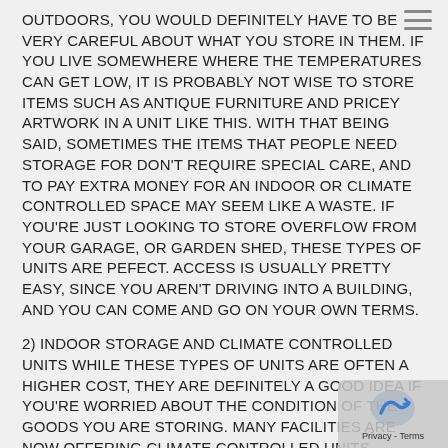OUTDOORS, YOU WOULD DEFINITELY HAVE TO BE VERY CAREFUL ABOUT WHAT YOU STORE IN THEM. IF YOU LIVE SOMEWHERE WHERE THE TEMPERATURES CAN GET LOW, IT IS PROBABLY NOT WISE TO STORE ITEMS SUCH AS ANTIQUE FURNITURE AND PRICEY ARTWORK IN A UNIT LIKE THIS. WITH THAT BEING SAID, SOMETIMES THE ITEMS THAT PEOPLE NEED STORAGE FOR DON'T REQUIRE SPECIAL CARE, AND TO PAY EXTRA MONEY FOR AN INDOOR OR CLIMATE CONTROLLED SPACE MAY SEEM LIKE A WASTE. IF YOU'RE JUST LOOKING TO STORE OVERFLOW FROM YOUR GARAGE, OR GARDEN SHED, THESE TYPES OF UNITS ARE PEFECT. ACCESS IS USUALLY PRETTY EASY, SINCE YOU AREN'T DRIVING INTO A BUILDING, AND YOU CAN COME AND GO ON YOUR OWN TERMS.
2) INDOOR STORAGE AND CLIMATE CONTROLLED UNITS WHILE THESE TYPES OF UNITS ARE OFTEN A HIGHER COST, THEY ARE DEFINITELY A GOOD IDEA IF YOU'RE WORRIED ABOUT THE CONDITION OF THE GOODS YOU ARE STORING. MANY FACILITIES ARE NOW OFFERING CLIMATE CONTROLLED UNITS, WHICH MEANS YOUR GOODS ARE STORED AT R TEMPERATURE AND ARE NOT SUSCEPTIBLE TO THE ISSU THAT CAN ARISE FROM EXTREME TEMPERATURES (CRA OR WARPING IN THE COLD, DEVELOPING MOULD AND MILDEW